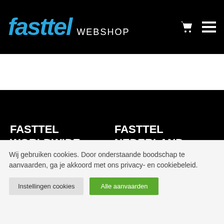fasttel WEBSHOP
FASTTEL WORLDWIDE
FASTTEL NEDERLAND
Wij gebruiken cookies. Door onderstaande boodschap te aanvaarden, ga je akkoord met ons privacy- en cookiebeleid.
Instellingen cookies
Alle aanvaarden